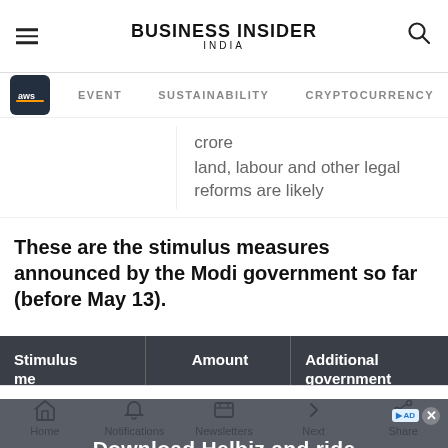BUSINESS INSIDER INDIA
EVENT   SUSTAINABILITY   CRYPTOCURRENCY
crore
land, labour and other legal reforms are likely
These are the stimulus measures announced by the Modi government so far (before May 13).
| Stimulus me... | Amount | Additional government |
| --- | --- | --- |
Download Helbiz and ride
Home   Notifications   Newsletters   Next   Share